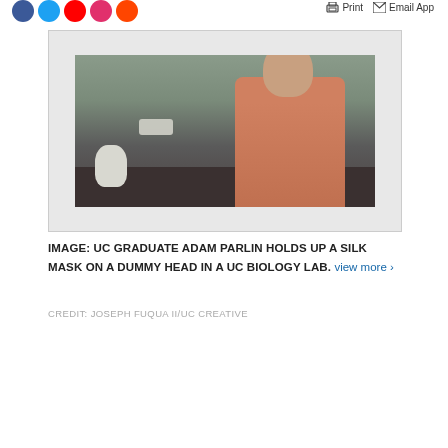Social share icons, Print, Email App
[Figure (photo): UC graduate Adam Parlin wearing a blue face mask holds up a white silk mask on a mannequin dummy head in a UC biology laboratory. Shelves with lab equipment are visible in the background.]
IMAGE: UC GRADUATE ADAM PARLIN HOLDS UP A SILK MASK ON A DUMMY HEAD IN A UC BIOLOGY LAB. view more ›
CREDIT: JOSEPH FUQUA II/UC CREATIVE